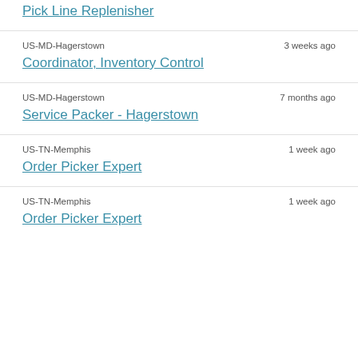Pick Line Replenisher
US-MD-Hagerstown · 3 weeks ago
Coordinator, Inventory Control
US-MD-Hagerstown · 7 months ago
Service Packer - Hagerstown
US-TN-Memphis · 1 week ago
Order Picker Expert
US-TN-Memphis · 1 week ago
Order Picker Expert